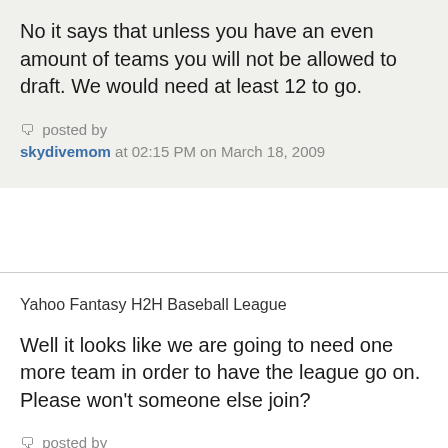No it says that unless you have an even amount of teams you will not be allowed to draft. We would need at least 12 to go.
posted by skydivemom at 02:15 PM on March 18, 2009
Yahoo Fantasy H2H Baseball League
Well it looks like we are going to need one more team in order to have the league go on. Please won't someone else join?
posted by skydivemom at